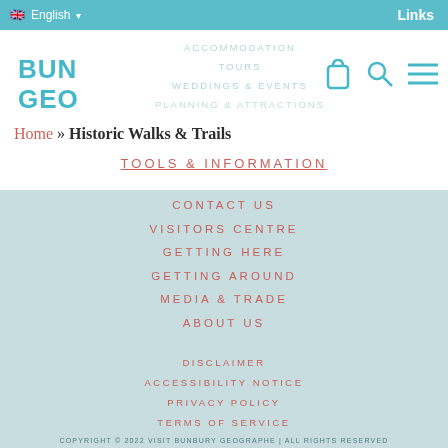English | Links
[Figure (logo): BUN GEO logo in teal/cyan block letters]
ACCOMMODATION TOURS WEDDINGS & EVENTS PLANNING & ATTRACTIONS TOOLS & INFORMATION CONTACT US VISITORS CENTRE GETTING HERE GETTING AROUND MEDIA & TRADE ABOUT US
Home » Historic Walks & Trails
TOOLS & INFORMATION
CONTACT US
VISITORS CENTRE
GETTING HERE
GETTING AROUND
MEDIA & TRADE
ABOUT US
DISCLAIMER
ACCESSIBILITY NOTICE
PRIVACY POLICY
TERMS OF SERVICE
COPYRIGHT © 2022 VISIT BUNBURY GEOGRAPHE | ALL RIGHTS RESERVED
SITE CRAFTED BY YOURSPACE & PIXEL SMITH STUDIO
LOGIN